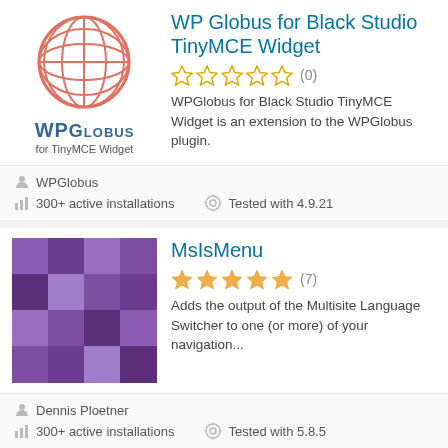[Figure (logo): WPGlobus logo: coral/salmon globe icon above WPGlobus text and 'for TinyMCE Widget']
WP Globus for Black Studio TinyMCE Widget
☆☆☆☆☆ (0)
WPGlobus for Black Studio TinyMCE Widget is an extension to the WPGlobus plugin.
WPGlobus
300+ active installations   Tested with 4.9.21
[Figure (illustration): Purple mosaic/pixelated pattern used as plugin icon for MsIsMenu]
MsIsMenu
★★★★★ (7)
Adds the output of the Multisite Language Switcher to one (or more) of your navigation...
Dennis Ploetner
300+ active installations   Tested with 5.8.5